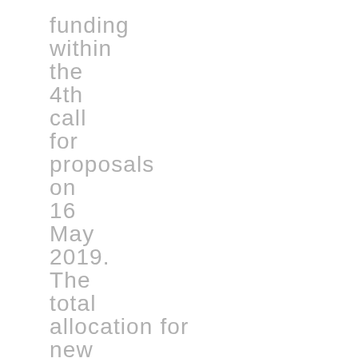funding within the 4th call for proposals on 16 May 2019. The total allocation for new projects is ca 1.7 million